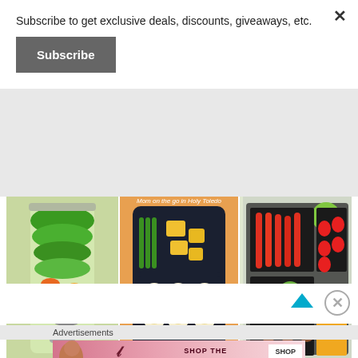Subscribe to get exclusive deals, discounts, giveaways, etc.
× (close button)
Subscribe
[Figure (photo): Three food prep photos side by side: a mason jar salad with greens and vegetables, a bento box with green beans, cheese and banana bites on an orange patterned background with watermark 'Mom on the go in Holy Toledo', and a black meal prep container with red peppers, cucumber, fruit and meatballs.]
[Figure (screenshot): White panel with a teal/blue upward-pointing triangle arrow and a circled X close button.]
Advertisements
[Figure (illustration): Victoria's Secret advertisement banner: pink gradient background with VS logo, text 'SHOP THE COLLECTION' and 'SHOP NOW' button.]